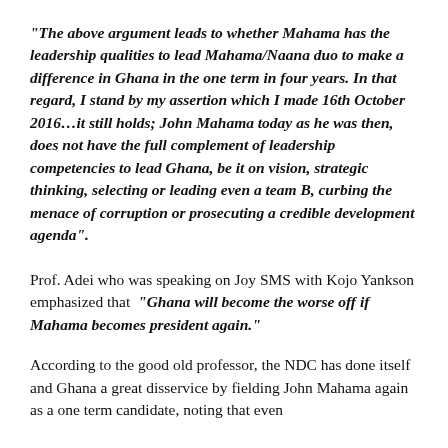“The above argument leads to whether Mahama has the leadership qualities to lead Mahama/Naana duo to make a difference in Ghana in the one term in four years. In that regard, I stand by my assertion which I made 16th October 2016…it still holds; John Mahama today as he was then, does not have the full complement of leadership competencies to lead Ghana, be it on vision, strategic thinking, selecting or leading even a team B, curbing the menace of corruption or prosecuting a credible development agenda”.
Prof. Adei who was speaking on Joy SMS with Kojo Yankson emphasized that “Ghana will become the worse off if Mahama becomes president again.”
According to the good old professor, the NDC has done itself and Ghana a great disservice by fielding John Mahama again as a one term candidate, noting that even